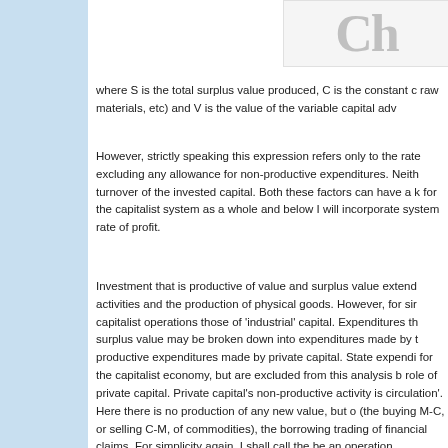[Figure (other): Partial image or logo visible at top right, showing large gray stylized characters]
where S is the total surplus value produced, C is the constant c raw materials, etc) and V is the value of the variable capital adv
However, strictly speaking this expression refers only to the rate excluding any allowance for non-productive expenditures. Neith turnover of the invested capital. Both these factors can have a k for the capitalist system as a whole and below I will incorporate system rate of profit.
Investment that is productive of value and surplus value extend activities and the production of physical goods. However, for sir capitalist operations those of 'industrial' capital. Expenditures th surplus value may be broken down into expenditures made by t productive expenditures made by private capital. State expendi for the capitalist economy, but are excluded from this analysis b role of private capital. Private capital's non-productive activity is circulation'. Here there is no production of any new value, but o (the buying M-C, or selling C-M, of commodities), the borrowing trading of financial claims. For simplicity again, I shall call the be an operation performed by 'commercial' capital and the remaini